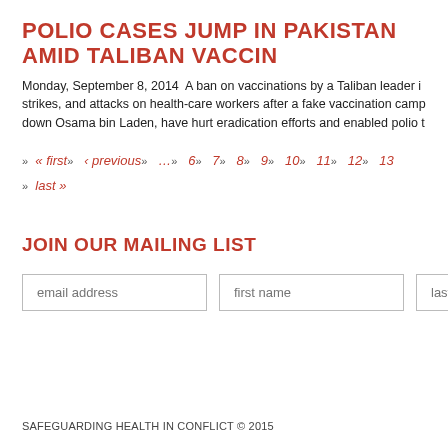POLIO CASES JUMP IN PAKISTAN AMID TALIBAN VACCIN…
Monday, September 8, 2014  A ban on vaccinations by a Taliban leader in… strikes, and attacks on health-care workers after a fake vaccination camp… down Osama bin Laden, have hurt eradication efforts and enabled polio t…
» « first» ‹ previous» …» 6» 7» 8» 9» 10» 11» 12» 13…
» last »
JOIN OUR MAILING LIST
email address   first name   last n…
SAFEGUARDING HEALTH IN CONFLICT © 2015